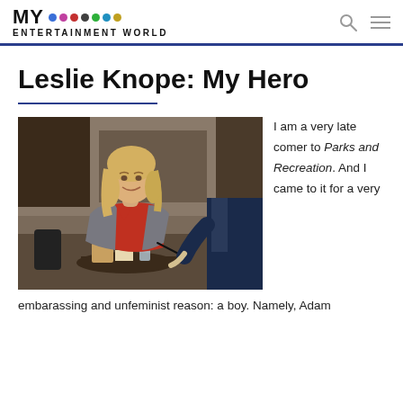MY ENTERTAINMENT WORLD
Leslie Knope: My Hero
[Figure (photo): Blonde woman in grey blazer and red shirt sitting at an outdoor table, smiling, with another person in a suit visible at the right edge.]
I am a very late comer to Parks and Recreation. And I came to it for a very embarassing and unfeminist reason: a boy. Namely, Adam